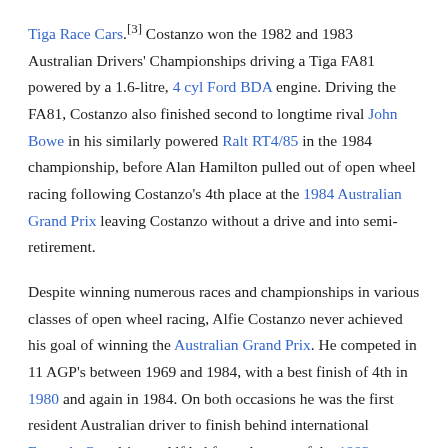Tiga Race Cars.[3] Costanzo won the 1982 and 1983 Australian Drivers' Championships driving a Tiga FA81 powered by a 1.6-litre, 4 cyl Ford BDA engine. Driving the FA81, Costanzo also finished second to longtime rival John Bowe in his similarly powered Ralt RT4/85 in the 1984 championship, before Alan Hamilton pulled out of open wheel racing following Costanzo's 4th place at the 1984 Australian Grand Prix leaving Costanzo without a drive and into semi-retirement.
Despite winning numerous races and championships in various classes of open wheel racing, Alfie Costanzo never achieved his goal of winning the Australian Grand Prix. He competed in 11 AGP's between 1969 and 1984, with a best finish of 4th in 1980 and again in 1984. On both occasions he was the first resident Australian driver to finish behind international Formula One drivers. Alf led from the start of the 1983 Australian Grand Prix, and built up a small lead over eventual winner Roberto Moreno of Brazil, before the diff in his Tiga FA81 failed on lap 25. Moreno later admitted that Costanzo would have been very hard to catch or pass.